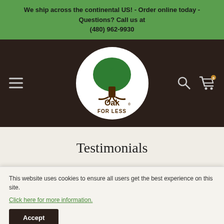We ship across the continental US! - Order online today - Questions? Call us at (480) 962-9930
[Figure (logo): Oak For Less logo - green tree above text 'Oak FOR LESS' in a white circle on dark brown nav bar]
Testimonials
"When I walked into Oak For Less for the first time, I was greeted immediately. I felt very welcome. I explained to Michael what I was
I received from Oak For Less. I will be returning for the dining-room
This website uses cookies to ensure all users get the best experience on this site. Click here for more information.